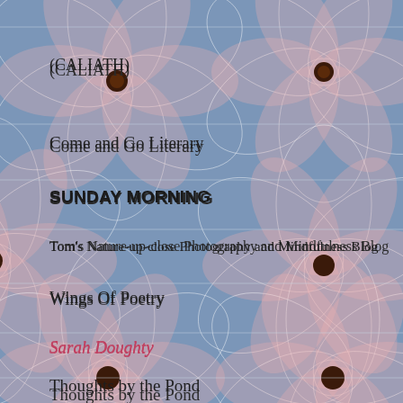(CALIATH)
Come and Go Literary
SUNDAY MORNING
Tom's Nature-up-close Photography and Mindfulness Blog
Wings Of Poetry
Sarah Doughty
Thoughts by the Pond
"X" Marks The Spot